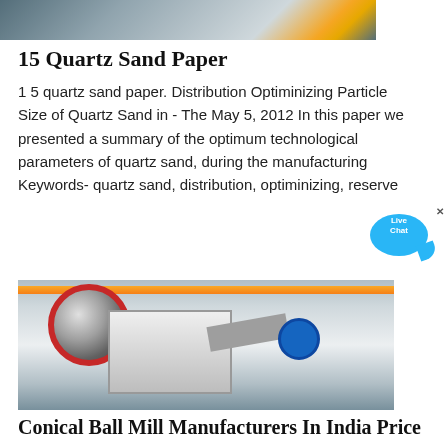[Figure (photo): Top partial image of quarry or sand processing site with industrial machinery, partially cropped at top of page]
15 Quartz Sand Paper
1 5 quartz sand paper. Distribution Optiminizing Particle Size of Quartz Sand in - The May 5, 2012 In this paper we presented a summary of the optimum technological parameters of quartz sand, during the manufacturing Keywords- quartz sand, distribution, optiminizing, reserve
[Figure (illustration): Live Chat bubble widget with cyan speech bubble and 'Live Chat' text and close X button]
[Figure (photo): Industrial jaw crusher machine (model MJ-124.0) photographed in a factory/warehouse setting with yellow overhead crane]
Conical Ball Mill Manufacturers In India Price